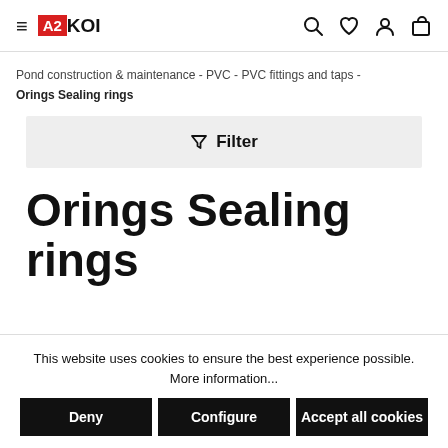A2KOI
Pond construction & maintenance - PVC - PVC fittings and taps - Orings Sealing rings
Filter
Orings Sealing rings
This website uses cookies to ensure the best experience possible. More information...
Deny | Configure | Accept all cookies